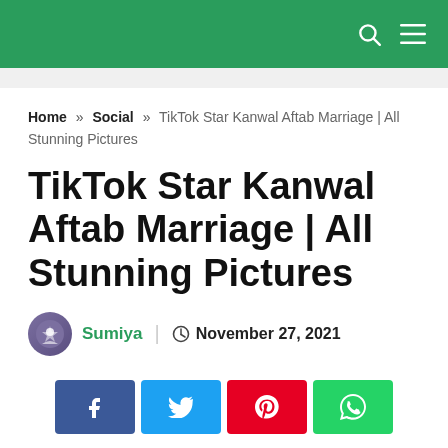Navigation bar with search and menu icons
Home » Social » TikTok Star Kanwal Aftab Marriage | All Stunning Pictures
TikTok Star Kanwal Aftab Marriage | All Stunning Pictures
Sumiya  November 27, 2021
[Figure (infographic): Social share buttons: Facebook, Twitter, Pinterest, WhatsApp]